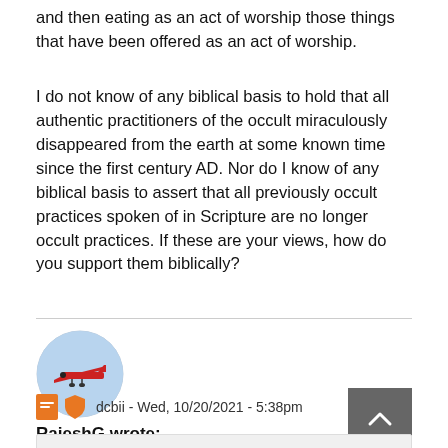and then eating as an act of worship those things that have been offered as an act of worship.
I do not know of any biblical basis to hold that all authentic practitioners of the occult miraculously disappeared from the earth at some known time since the first century AD. Nor do I know of any biblical basis to assert that all previously occult practices spoken of in Scripture are no longer occult practices. If these are your views, how do you support them biblically?
RajeshG wrote:
dcbii - Wed, 10/20/2021 - 5:38pm
[Figure (photo): Oval-framed avatar photo showing a small propeller aircraft against a blue sky background]